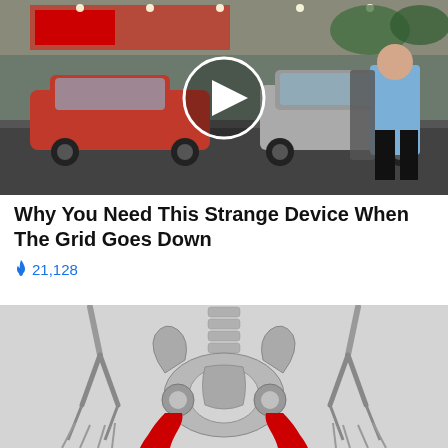[Figure (photo): Thumbnail image of a gas station scene with cars in rainy weather; a man in a blue shirt is getting out of a car. A circular play button overlay is centered on the image.]
Why You Need This Strange Device When The Grid Goes Down
🔥 21,128
[Figure (illustration): Medical illustration of a human skeleton from the front, highlighting the hip flexor / psoas muscles in red on both sides between the pelvis and upper femur area. The background is light gray.]